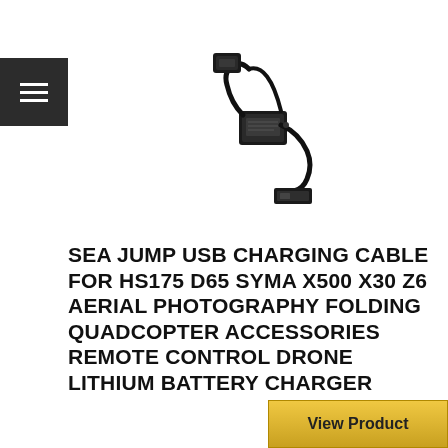[Figure (photo): USB charging cable for drone/quadcopter, black in color with USB connector and adapter block, coiled cable]
SEA JUMP USB CHARGING CABLE FOR HS175 D65 SYMA X500 X30 Z6 AERIAL PHOTOGRAPHY FOLDING QUADCOPTER ACCESSORIES REMOTE CONTROL DRONE LITHIUM BATTERY CHARGER
View Product